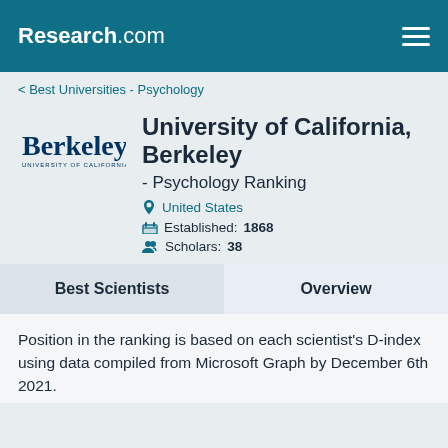Research.com
< Best Universities - Psychology
[Figure (logo): University of California Berkeley logo with 'Berkeley' text and 'UNIVERSITY OF CALIFORNIA' subtitle]
University of California, Berkeley - Psychology Ranking
United States
Established: 1868
Scholars: 38
Best Scientists
Overview
Position in the ranking is based on each scientist's D-index using data compiled from Microsoft Graph by December 6th 2021.